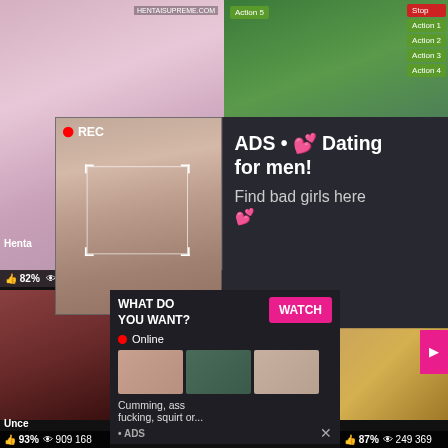[Figure (screenshot): Adult video thumbnail grid with stats bars showing likes, views, and duration. Top left cell shows anime-style image with watermark HENTAISUPREME.COM, stats: 82% like, 136 623 views, 139 duration. Top right cell shows animated game-style content with Action 5 label and game buttons (Stop, Action 1, Action 2, Action 3, Action 4), stats: 88% like, 584 252 views. Overlaid popup ad showing woman taking selfie with REC recording indicator, alongside dark panel with text 'ADS • Dating for men! Find bad girls here'. Bottom left cell shows adult content thumbnail, stats: 93% like, 909 168 views. Bottom right cell shows adult content, stats: 87% like, 249 369 views. Second overlay ad reads 'WHAT DO YOU WANT? WATCH Online' with three thumbnails and text 'Cumming, ass fucking, squirt or... • ADS'.]